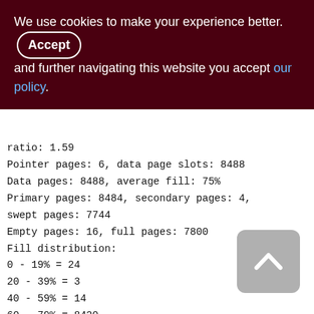We use cookies to make your experience better. By accepting and further navigating this website you accept our policy.
ratio: 1.59
Pointer pages: 6, data page slots: 8488
Data pages: 8488, average fill: 75%
Primary pages: 8484, secondary pages: 4, swept pages: 7744
Empty pages: 16, full pages: 7800
Fill distribution:
0 - 19% = 24
20 - 39% = 3
40 - 59% = 14
60 - 79% = 8420
80 - 99% = 27